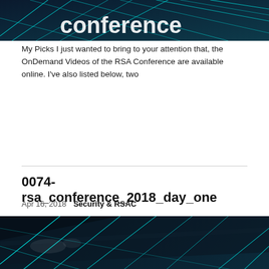[Figure (photo): Dark blue conference backdrop with teal/cyan geometric lines pattern and white text reading 'conference' (partially visible)]
My Picks I just wanted to bring to your attention that, the OnDemand Videos of the RSA Conference are available online. I've also listed below, two
0074-rsa_conference_2018_day_one
Apr 16, 2018   Security & RSAC
[Figure (photo): Dark blue conference backdrop with teal/cyan geometric lines pattern and white text reading 'conference' (partially visible), taken from a lower angle showing ceiling structure]
Day One The last two days, were spent preparing for RSAC. Making small checks in a check a dd to some and cha...